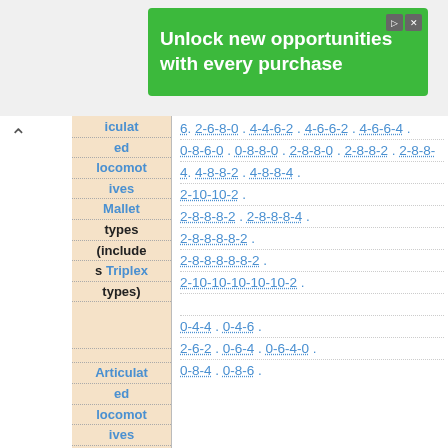[Figure (other): Green advertisement banner: 'Unlock new opportunities with every purchase']
| Category | Types |
| --- | --- |
| Articulated locomotives Mallet types (includes Triplex types) | 6. 2-6-8-0 . 4-4-6-2 . 4-6-6-2 . 4-6-6-4 . |
|  | 0-8-6-0 . 0-8-8-0 . 2-8-8-0 . 2-8-8-2 . 2-8-8-... |
|  | 4. 4-8-8-2 . 4-8-8-4 . |
|  | 2-10-10-2 . |
|  | 2-8-8-8-2 . 2-8-8-8-4 . |
|  | 2-8-8-8-8-2 . |
|  | 2-8-8-8-8-8-2 . |
|  | 2-10-10-10-10-10-2 . |
| Articulated locomotives Engerth types | 0-4-4 . 0-4-6 . |
|  | 2-6-2 . 0-6-4 . 0-6-4-0 . |
|  | 0-8-4 . 0-8-6 . |